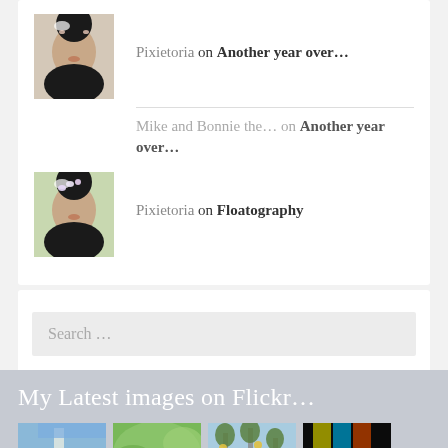Pixietoria on Another year over...
Mike and Bonnie the... on Another year over...
Pixietoria on Floatography
Search ...
My Latest images on Flickr...
[Figure (photo): Four thumbnail photos shown at bottom: blue sky with vertical element, green foliage, outdoor scene with trees and lights, colorful dark abstract]